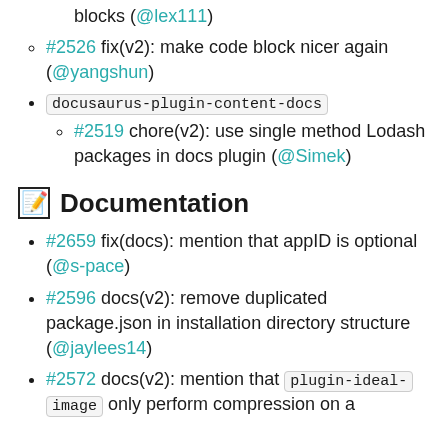#2526 fix(v2): make code block nicer again (@yangshun)
docusaurus-plugin-content-docs
#2519 chore(v2): use single method Lodash packages in docs plugin (@Simek)
📝 Documentation
#2659 fix(docs): mention that appID is optional (@s-pace)
#2596 docs(v2): remove duplicated package.json in installation directory structure (@jaylees14)
#2572 docs(v2): mention that plugin-ideal-image only perform compression on a